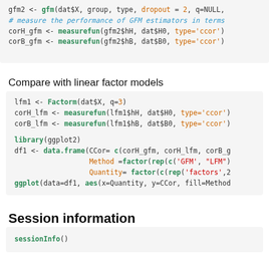[Figure (screenshot): Code block showing gfm2 and measurefun calls with dropout and ccor arguments]
Compare with linear factor models
[Figure (screenshot): Code block showing lfm1 Factorm, measurefun calls, library ggplot2, data.frame and ggplot calls]
Session information
[Figure (screenshot): Code block showing sessionInfo()]